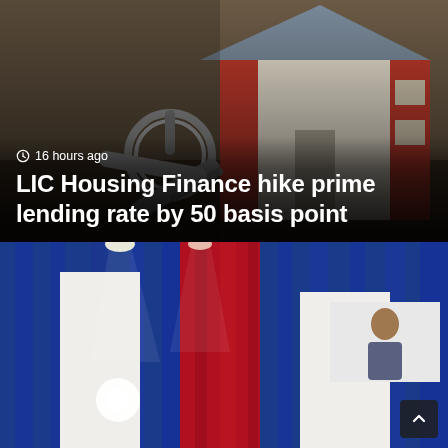[Figure (photo): Close-up photo of house keys on a keyring placed in front of a miniature model house with red and white exterior and grey roof, on a wooden surface. Dim lighting, blurred background.]
16 hours ago
LIC Housing Finance hike prime lending rate by 50 basis point
[Figure (photo): Photo of a conference or event hall with blue and red curtain draping, bright stage lights, and a person visible on screen or stage in the background. White partition walls visible.]